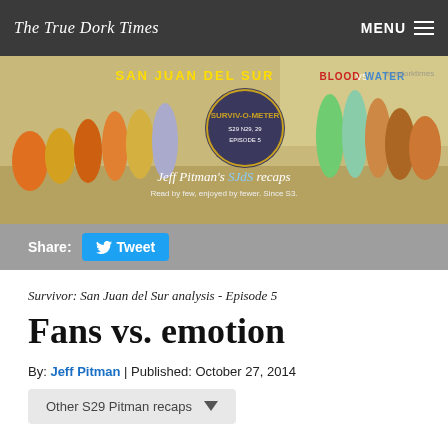The True Dork Times | MENU
[Figure (photo): San Juan del Sur Blood vs Water banner image with group of Survivor contestants, Surviv-o-meter logo, and text: Jeff Pitman's SJdS recaps - Read by few, enjoyed by fewer. Since S3.]
Share: Tweet
Survivor: San Juan del Sur analysis - Episode 5
Fans vs. emotion
By: Jeff Pitman | Published: October 27, 2014
Other S29 Pitman recaps
[Figure (photo): Bottom portion of a person's face partially visible, with jungle foliage in background.]